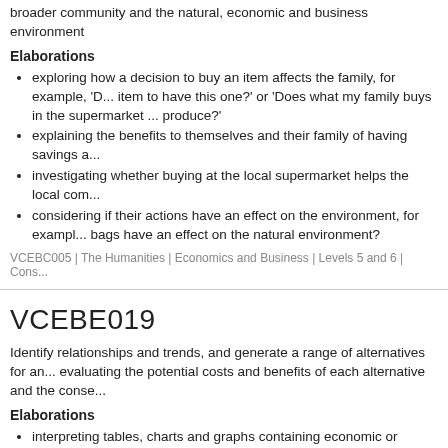broader community and the natural, economic and business environment
Elaborations
exploring how a decision to buy an item affects the family, for example, 'D... item to have this one?' or 'Does what my family buys in the supermarket ... produce?'
explaining the benefits to themselves and their family of having savings a...
investigating whether buying at the local supermarket helps the local com...
considering if their actions have an effect on the environment, for exampl... bags have an effect on the natural environment?
VCEBC005 | The Humanities | Economics and Business | Levels 5 and 6 | Cons...
VCEBE019
Identify relationships and trends, and generate a range of alternatives for an... evaluating the potential costs and benefits of each alternative and the conse...
Elaborations
interpreting tables, charts and graphs containing economic or business d... make predictions about future trends, for example, trends in online shopp...
examining the trade-offs involved in making choices
investigating how businesses identify opportunities in the market...
undertaking a cost-benefit analysis of alternatives proposed and making...
discussing the consequences of an economic or business decision, and n... decision and what might be the effect of alternative actions